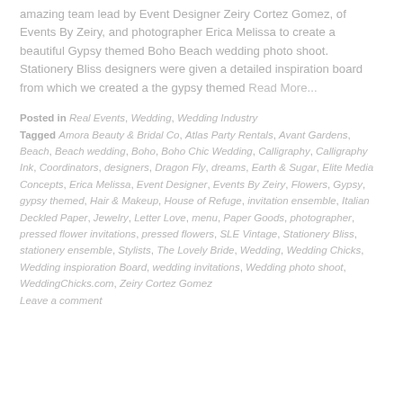amazing team lead by Event Designer Zeiry Cortez Gomez, of Events By Zeiry, and photographer Erica Melissa to create a beautiful Gypsy themed Boho Beach wedding photo shoot. Stationery Bliss designers were given a detailed inspiration board from which we created a the gypsy themed Read More...
Posted in Real Events, Wedding, Wedding Industry Tagged Amora Beauty & Bridal Co, Atlas Party Rentals, Avant Gardens, Beach, Beach wedding, Boho, Boho Chic Wedding, Calligraphy, Calligraphy Ink, Coordinators, designers, Dragon Fly, dreams, Earth & Sugar, Elite Media Concepts, Erica Melissa, Event Designer, Events By Zeiry, Flowers, Gypsy, gypsy themed, Hair & Makeup, House of Refuge, invitation ensemble, Italian Deckled Paper, Jewelry, Letter Love, menu, Paper Goods, photographer, pressed flower invitations, pressed flowers, SLE Vintage, Stationery Bliss, stationery ensemble, Stylists, The Lovely Bride, Wedding, Wedding Chicks, Wedding inspioration Board, wedding invitations, Wedding photo shoot, WeddingChicks.com, Zeiry Cortez Gomez Leave a comment